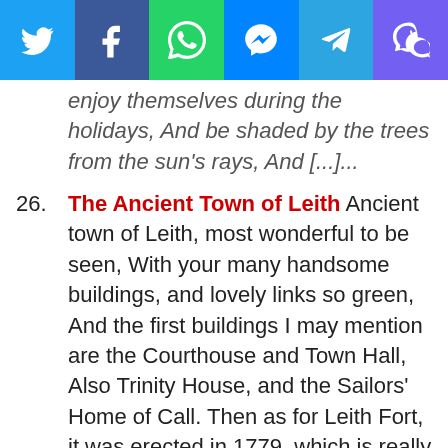[Figure (other): Social sharing bar with six icons: Twitter (blue), Facebook (dark blue), WhatsApp (green), Messenger (blue), Telegram (light blue), Viber (purple)]
enjoy themselves during the holidays, And be shaded by the trees from the sun's rays, And [...]...
26. The Ancient Town of Leith Ancient town of Leith, most wonderful to be seen, With your many handsome buildings, and lovely links so green, And the first buildings I may mention are the Courthouse and Town Hall, Also Trinity House, and the Sailors’ Home of Call. Then as for Leith Fort, it was erected in 1779, which is really grand, [...]...
27. Bonnie Montrose Beautiful town of Montrose, I will now commence my lay, And I will write in praise of thee without dismay, And in spite of all your foes, I will venture to call thee Bonnie Montrose. Your beautiful Chain Bridge is magnificent to be seen, Spanning the river Esk, a beautiful tidal stream, Which abounds with [...]...